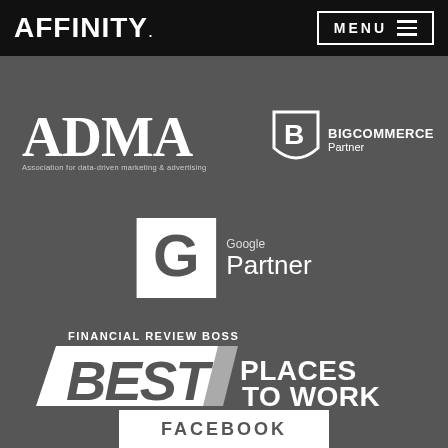AFFINITY. | MENU ≡
[Figure (logo): ADMA - Association for data-driven marketing & advertising logo in white]
[Figure (logo): BigCommerce Partner logo in white]
[Figure (logo): Google Partner logo in white/grey]
[Figure (logo): Financial Review BOSS Best Places to Work logo in white]
[Figure (logo): Facebook logo partially visible at bottom]